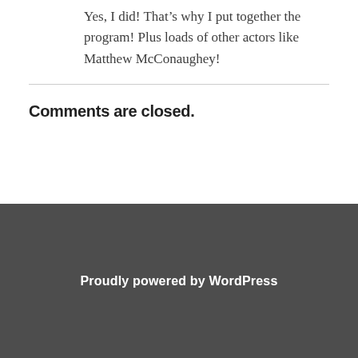Yes, I did! That’s why I put together the program! Plus loads of other actors like Matthew McConaughey!
Comments are closed.
Proudly powered by WordPress